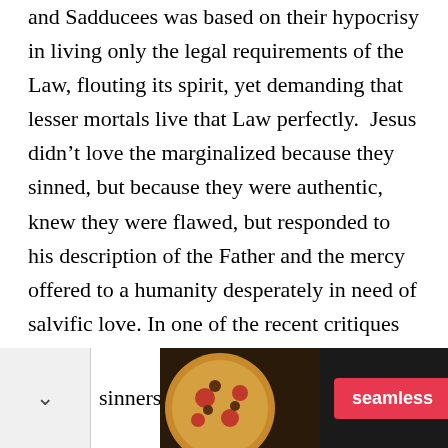and Sadducees was based on their hypocrisy in living only the legal requirements of the Law, flouting its spirit, yet demanding that lesser mortals live that Law perfectly.  Jesus didn't love the marginalized because they sinned, but because they were authentic, knew they were flawed, but responded to his description of the Father and the mercy offered to a humanity desperately in need of salvific love. In one of the recent critiques of Francis, someone pointed  out that the difference with Jesus was that he associated
sinners but left them as converted
[Figure (other): Seamless food delivery advertisement banner with pizza image on the left, Seamless logo/button in the center, and ORDER NOW button on the right, dark background.]